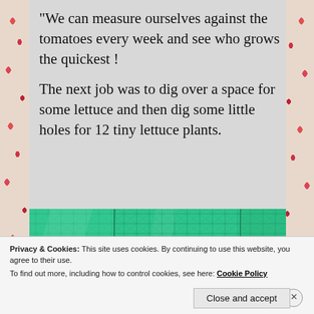“We can measure ourselves against the tomatoes every week and see who grows the quickest !
The next job was to dig over a space for some lettuce and then dig some little holes for 12 tiny lettuce plants.
[Figure (photo): Close-up photo of green mesh or netting fabric material stretched flat]
Privacy & Cookies: This site uses cookies. By continuing to use this website, you agree to their use.
To find out more, including how to control cookies, see here: Cookie Policy